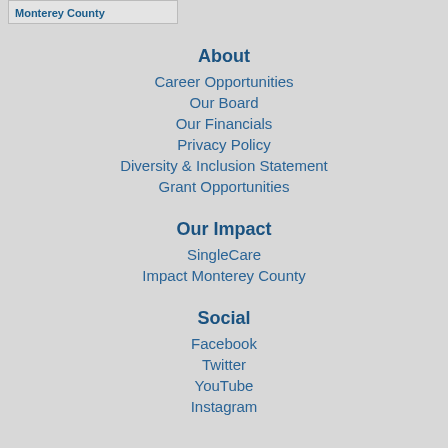Monterey County
About
Career Opportunities
Our Board
Our Financials
Privacy Policy
Diversity & Inclusion Statement
Grant Opportunities
Our Impact
SingleCare
Impact Monterey County
Social
Facebook
Twitter
YouTube
Instagram